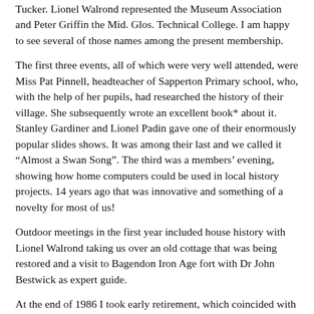Tucker.  Lionel Walrond represented the Museum Association and Peter Griffin the Mid. Glos. Technical College.  I am happy to see several of those names among the present membership.
The first three events, all of which were very well attended, were Miss Pat Pinnell, headteacher of Sapperton Primary school, who, with the help of her pupils, had researched the history of their village.  She subsequently wrote an excellent book* about it.  Stanley Gardiner and Lionel Padin gave one of their enormously popular slides shows.  It was among their last and we called it “Almost a Swan Song”.  The third was a members’ evening, showing how home computers could be used in local history projects.  14 years ago that was innovative and something of a novelty for most of us!
Outdoor meetings in the first year included house history with Lionel Walrond taking us over an old cottage that was being restored and a visit to Bagendon Iron Age fort with Dr John Bestwick as expert guide.
At the end of 1986 I took early retirement, which coincided with a major reorganisation in the Gloucestershire County Library, and, in 1987, I moved to Trowbridge and my active association with the Society ended, although I am still a member and take a